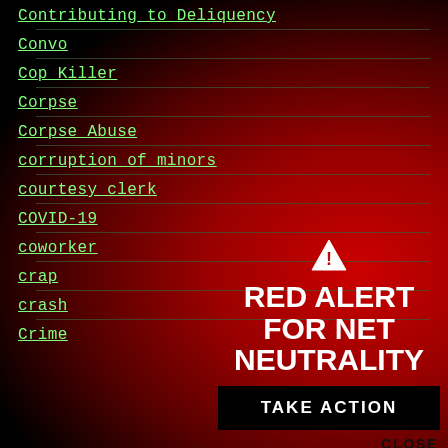Contributing to Deliquency
Convo
Cop Killer
Corpse
Corpse Abuse
corruption of minors
courtesy clerk
COVID-19
coworker
crap
crash
Crime
[Figure (infographic): Red Alert for Net Neutrality overlay with warning triangle icon, 'RED ALERT FOR NET NEUTRALITY' heading, 'TAKE ACTION' button, and 'CLOSE' link]
RED ALERT FOR NET NEUTRALITY
TAKE ACTION
CLOSE